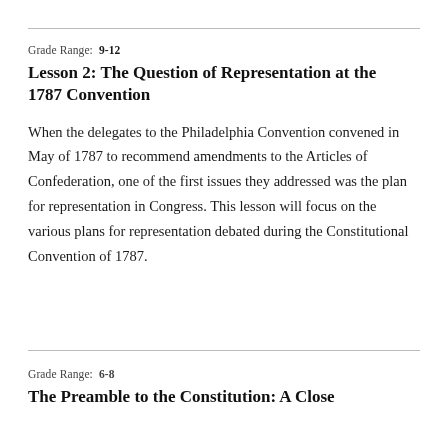Grade Range:  9-12
Lesson 2: The Question of Representation at the 1787 Convention
When the delegates to the Philadelphia Convention convened in May of 1787 to recommend amendments to the Articles of Confederation, one of the first issues they addressed was the plan for representation in Congress. This lesson will focus on the various plans for representation debated during the Constitutional Convention of 1787.
Grade Range:  6-8
The Preamble to the Constitution: A Close…